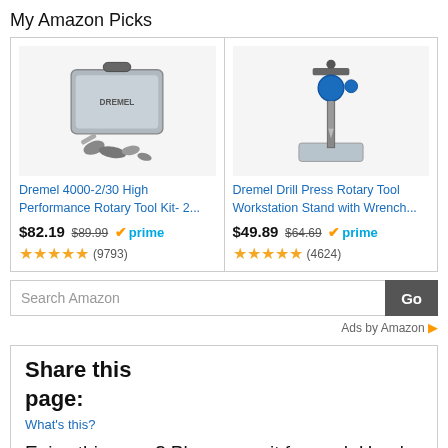My Amazon Picks
[Figure (photo): Dremel 4000-2/30 rotary tool kit in gray carrying case with accessories]
Dremel 4000-2/30 High Performance Rotary Tool Kit- 2...
$82.19  $89.99  prime
(9793)
[Figure (photo): Dremel Drill Press Rotary Tool Workstation Stand on metal base]
Dremel Drill Press Rotary Tool Workstation Stand with Wrench...
$49.89  $64.69  prime
(4624)
Search Amazon
Ads by Amazon
Share this page:
What's this?
Enjoy this page? Please pay it forward. Here's